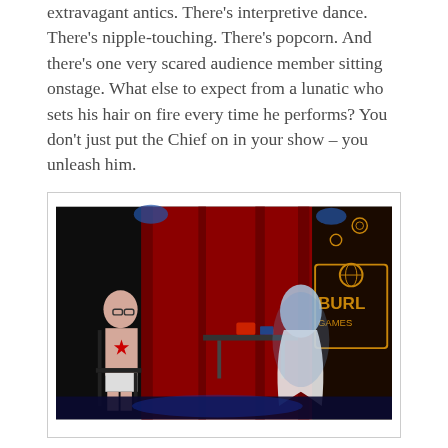extravagant antics. There's interpretive dance. There's nipple-touching. There's popcorn. And there's one very scared audience member sitting onstage. What else to expect from a lunatic who sets his hair on fire every time he performs? You don't just put the Chief on in your show – you unleash him.
[Figure (photo): Stage performance photo showing a man seated on the left wearing glasses and a red star on his chest, and a person on the right dressed in a flowing white ghost-like costume, with a red curtain and a World Burlesque Games sign in the background.]
The wild antics of Big Chief Random Chaos won him the Twisted Crown at the World Burlesque Games
More than a competition, the Twisted Crown, like the